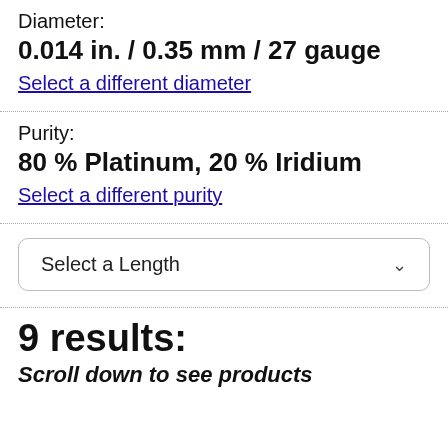Diameter:
0.014 in. / 0.35 mm / 27 gauge
Select a different diameter
Purity:
80 % Platinum, 20 % Iridium
Select a different purity
Select a Length
9 results:
Scroll down to see products